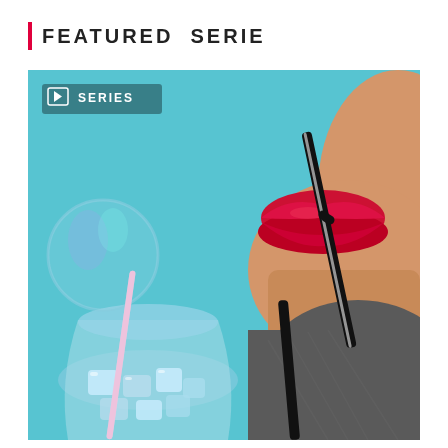FEATURED SERIE
[Figure (photo): Close-up photo of a woman with red lipstick drinking through a black straw from a glass filled with ice, against a teal/blue background. She is wearing a dark grey top. In the upper left of the image is a white 'SERIES' badge with a video/play icon.]